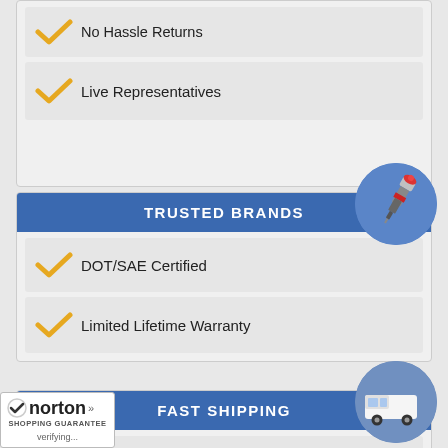No Hassle Returns
Live Representatives
TRUSTED BRANDS
[Figure (illustration): Spark plug on a blue circle background]
DOT/SAE Certified
Limited Lifetime Warranty
FAST SHIPPING
[Figure (illustration): White delivery van on a blue circle background]
Most Orders Shipped Priority Mail
Distribution Centers in NJ, GA, NV
[Figure (logo): Norton Shopping Guarantee badge with verifying... text]